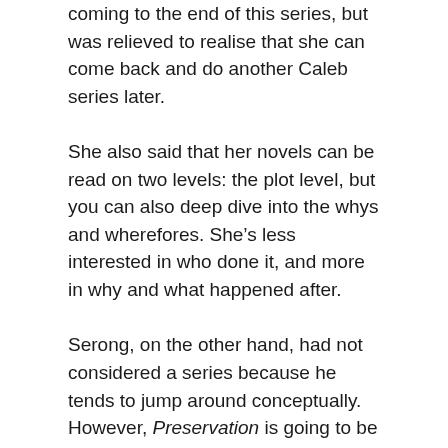coming to the end of this series, but was relieved to realise that she can come back and do another Caleb series later.
She also said that her novels can be read on two levels: the plot level, but you can also deep dive into the whys and wherefores. She’s less interested in who done it, and more in why and what happened after.
Serong, on the other hand, had not considered a series because he tends to jump around conceptually. However, Preservation is going to be the first of a trilogy, because there are more stories to tell about this 50-year period in Bass Strait history. It’s not a traditional crime novel, but colonialism could be seen as a high level crime. Stealing an entire continent is one of the great heists of all time (and it is accompanied by smaller